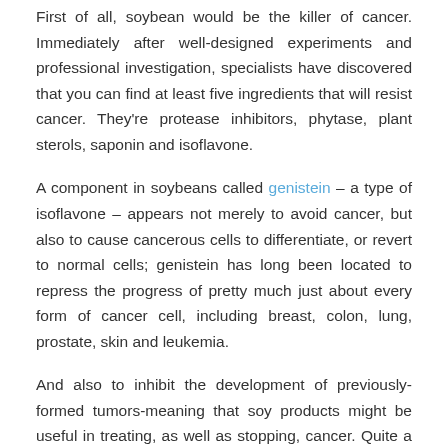First of all, soybean would be the killer of cancer. Immediately after well-designed experiments and professional investigation, specialists have discovered that you can find at least five ingredients that will resist cancer. They're protease inhibitors, phytase, plant sterols, saponin and isoflavone.
A component in soybeans called genistein – a type of isoflavone – appears not merely to avoid cancer, but also to cause cancerous cells to differentiate, or revert to normal cells; genistein has long been located to repress the progress of pretty much just about every form of cancer cell, including breast, colon, lung, prostate, skin and leukemia.
And also to inhibit the development of previously-formed tumors-meaning that soy products might be useful in treating, as well as stopping, cancer. Quite a few